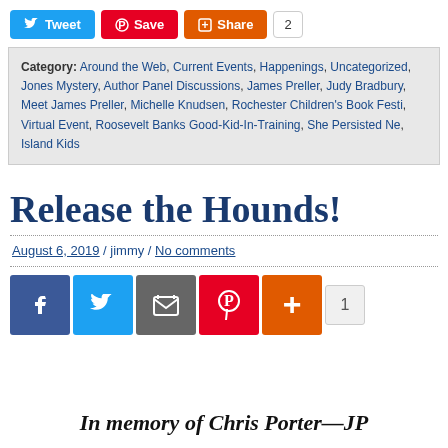[Figure (infographic): Social sharing buttons: Tweet (blue), Save (red/Pinterest), Share (orange), count badge showing 2]
Category: Around the Web, Current Events, Happenings, Uncategorized, Jones Mystery, Author Panel Discussions, James Preller, Judy Bradbury, Meet James Preller, Michelle Knudsen, Rochester Children's Book Festival, Virtual Event, Roosevelt Banks Good-Kid-In-Training, She Persisted Network, Island Kids
Release the Hounds!
August 6, 2019 / jimmy / No comments
[Figure (infographic): Social sharing icon buttons: Facebook (blue), Twitter (blue), Email (dark gray), Pinterest (red), Plus/more (orange), count badge showing 1]
In memory of Chris Porter—JP